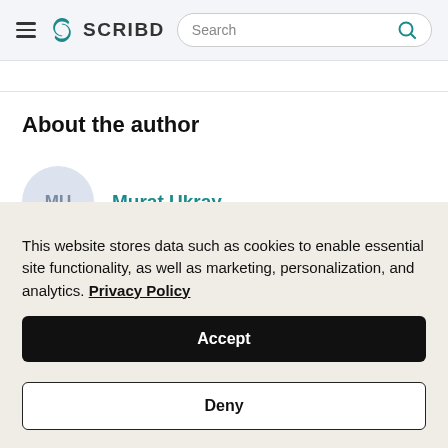SCRIBD — Search
About the author
MU  Murat Ukray
This website stores data such as cookies to enable essential site functionality, as well as marketing, personalization, and analytics. Privacy Policy
Accept
Deny